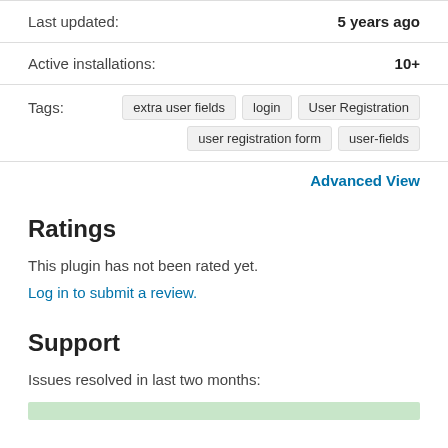Last updated: 5 years ago
Active installations: 10+
Tags: extra user fields  login  User Registration  user registration form  user-fields
Advanced View
Ratings
This plugin has not been rated yet.
Log in to submit a review.
Support
Issues resolved in last two months:
[Figure (other): A light green horizontal bar representing support resolution rate]